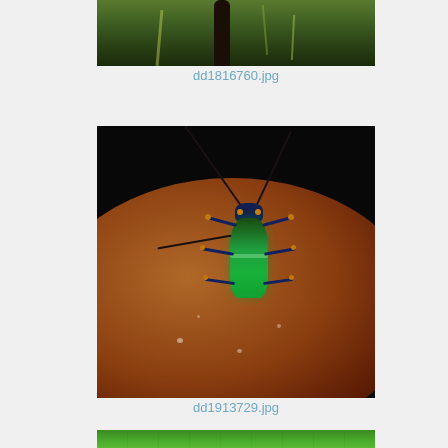[Figure (photo): Partial view of insect/beetle on bark with green vegetation in background]
dd1816760.jpg
[Figure (photo): Close-up macro photograph of a colorful beetle (blue and green) with long antennae, sitting on a brown rounded seed or fruit against a black background]
dd1913729.jpg
[Figure (photo): Partial view of green leaf with insect, partially visible at bottom of page]